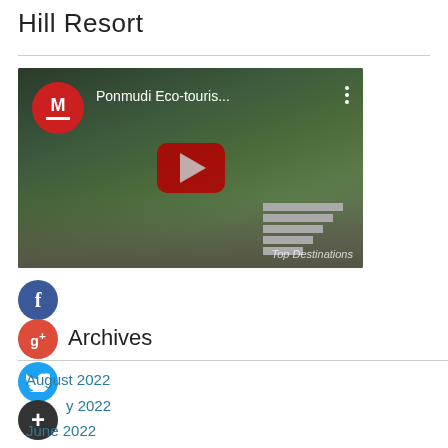Hill Resort
[Figure (screenshot): YouTube video thumbnail for 'Ponmudi Eco-touris...' with red YouTube logo circle with M, play button, and three-dot menu. Dark background showing a scenic outdoor scene with steps.]
[Figure (infographic): Social media icons: Facebook (blue circle with f), Google+ (red circle with g+), Twitter (blue circle with bird), Add/Plus (dark circle with +)]
Archives
August 2022
July 2022
June 2022
May 2022
April 2022